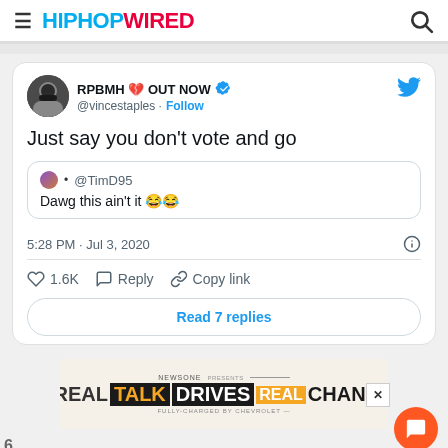HIPHOPWIRED
[Figure (screenshot): Embedded tweet from @vincestaples with display name 'RPBMH 💔 OUT NOW' and blue verified checkmark. Tweet text: 'Just say you don't vote and go'. Quoted tweet from @TimD95: 'Dawg this ain't it 😂😂'. Timestamp: 5:28 PM · Jul 3, 2020. Likes: 1.6K. Action buttons: Reply, Copy link. 'Read 7 replies' button at bottom.]
[Figure (infographic): NewsOne presents Real Talk Drives Real Change advertisement, fully charged by Chevrolet]